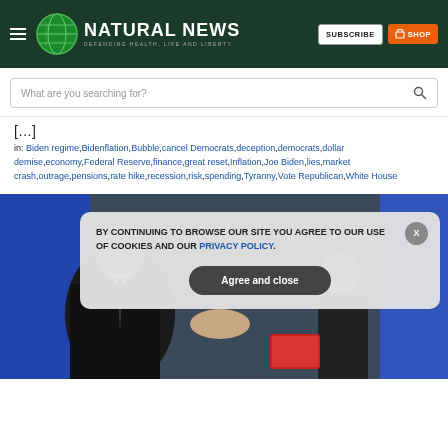NATURAL NEWS — DEFENDING HEALTH, LIFE AND LIBERTY | SUBSCRIBE | SHOP
What are you searching for?
[…]
in: Biden regime,Bidenflation,Bubble,cancel Democrats,deception,democrats,dollar demise,economy,Federal Reserve,finance,great reset,Inflation,Joe Biden,lies,market crash,outrage,pensions,rate hike,recession,risk,spending,Tyranny,Vote Republican,White House
[Figure (photo): Photo of two men in suits shaking hands, with flags in background. A cookie consent overlay dialog is displayed on top with text: BY CONTINUING TO BROWSE OUR SITE YOU AGREE TO OUR USE OF COOKIES AND OUR PRIVACY POLICY. with an Agree and close button.]